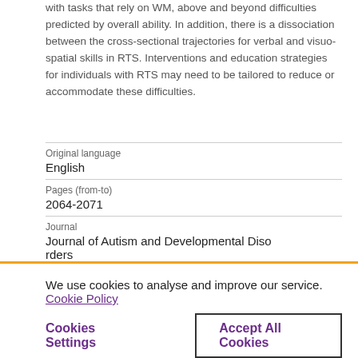with tasks that rely on WM, above and beyond difficulties predicted by overall ability. In addition, there is a dissociation between the cross-sectional trajectories for verbal and visuo-spatial skills in RTS. Interventions and education strategies for individuals with RTS may need to be tailored to reduce or accommodate these difficulties.
| Field | Value |
| --- | --- |
| Original language | English |
| Pages (from-to) | 2064-2071 |
| Journal | Journal of Autism and Developmental Diso rders |
We use cookies to analyse and improve our service. Cookie Policy
Cookies Settings   Accept All Cookies